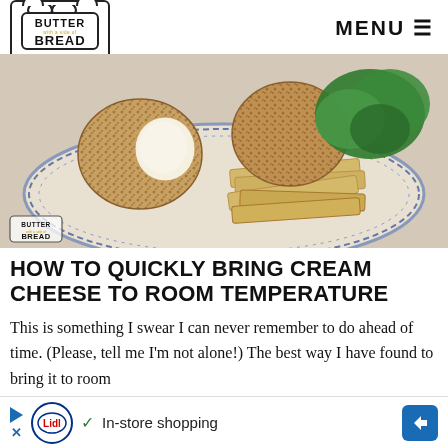BUTTER with a side of BREAD — MENU
[Figure (photo): Two cheese balls coated in nuts/herbs on a decorative blue and white plate with crackers and fresh parsley/herbs in the background. Watermark logo visible bottom-left.]
HOW TO QUICKLY BRING CREAM CHEESE TO ROOM TEMPERATURE
This is something I swear I can never remember to do ahead of time. (Please, tell me I'm not alone!) The best way I have found to bring it to room
[Figure (other): Advertisement bar: Lidl in-store shopping ad with play button, Lidl logo, checkmark, text 'In-store shopping', and blue arrow button]